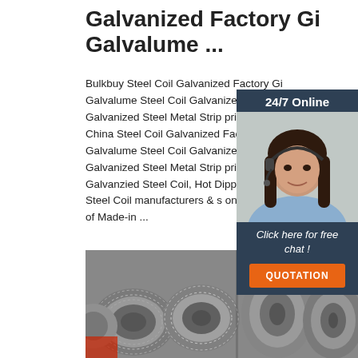Galvanized Factory Gi Galvalume ...
Bulkbuy Steel Coil Galvanized Factory Gi Galvalume Steel Coil Galvanized Steel Coil Galvanized Steel Metal Strip price comp get China Steel Coil Galvanized Factory Galvalume Steel Coil Galvanized Steel C Galvanized Steel Metal Strip price comp from Galvanzied Steel Coil, Hot Dipped Galvanized Steel Coil manufacturers & s on Video Channel of Made-in ...
[Figure (other): Chat widget overlay with a woman wearing a headset, '24/7 Online' header, 'Click here for free chat!' text, and QUOTATION button]
[Figure (other): Get Price green button]
[Figure (photo): Industrial steel wire coils/rods in a warehouse, with an orange TOP badge in the corner]